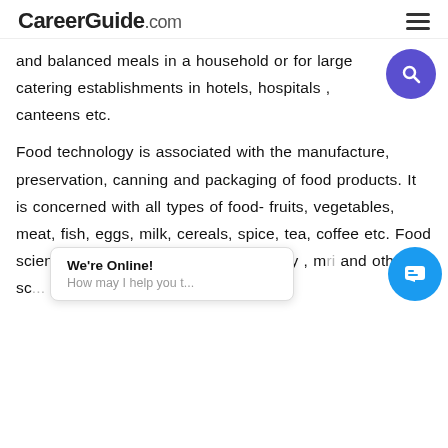CareerGuide.com
and balanced meals in a household or for large catering establishments in hotels, hospitals , canteens etc.
Food technology is associated with the manufacture, preservation, canning and packaging of food products. It is concerned with all types of food- fruits, vegetables, meat, fish, eggs, milk, cereals, spice, tea, coffee etc. Food scientists & technologists use chemistry , m ri and other sc